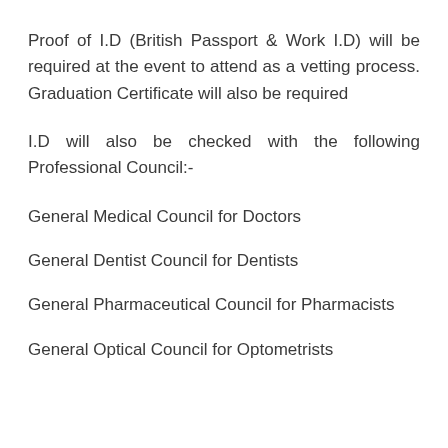Proof of I.D (British Passport & Work I.D) will be required at the event to attend as a vetting process. Graduation Certificate will also be required
I.D will also be checked with the following Professional Council:-
General Medical Council for Doctors
General Dentist Council for Dentists
General Pharmaceutical Council for Pharmacists
General Optical Council for Optometrists